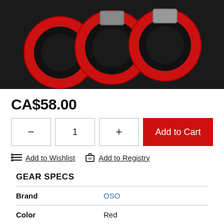[Figure (photo): Product photo of red and black metal rings/knuckles on dark background]
CA$58.00
- 1 + Add to Cart
Add to Wishlist  Add to Registry
GEAR SPECS
|  |  |
| --- | --- |
| Brand | OSO |
| Color | Red |